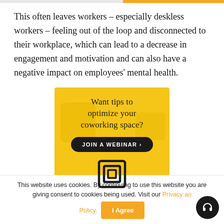This often leaves workers – especially deskless workers – feeling out of the loop and disconnected to their workplace, which can lead to a decrease in engagement and motivation and can also have a negative impact on employees' mental health.
[Figure (infographic): Yellow advertisement box with text 'Want tips to optimize your coworking space?' and a dark rounded button reading 'JOIN A WEBINAR ›', with a logo icon below and decorative shapes in the background.]
This website uses cookies. By continuing to use this website you are giving consent to cookies being used. Visit our Privacy and Cookie Policy.